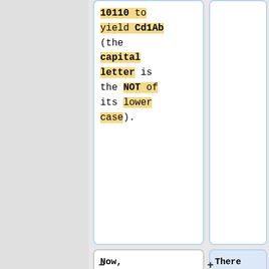10110 to yield Cd1Ab (the capital letter is the NOT of its lower case).
Now, (LSHIFT-1 Cd1Ab) = d1Ab0 which has a value of 01100, we must have d=0, A=1 (hence a=0), b=0. Thus, the solution must be in
There are 3 paths of length 4 (cell [1,3] in M^4) and they are A → A → A → A → C, A → A → C → A → C, A → C → A → A → C.